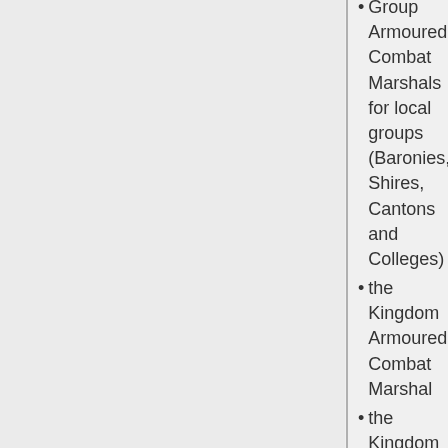Group Armoured Combat Marshals for local groups (Baronies, Shires, Cantons and Colleges)
the Kingdom Armoured Combat Marshal
the Kingdom Earl Marshal.